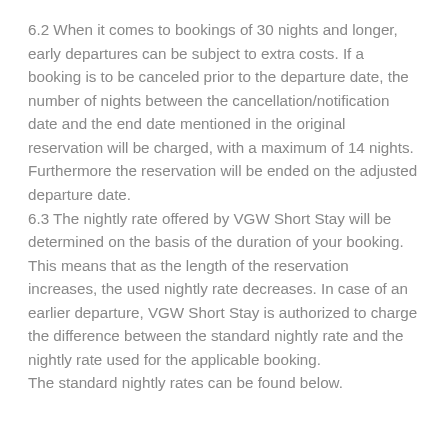6.2 When it comes to bookings of 30 nights and longer, early departures can be subject to extra costs. If a booking is to be canceled prior to the departure date, the number of nights between the cancellation/notification date and the end date mentioned in the original reservation will be charged, with a maximum of 14 nights. Furthermore the reservation will be ended on the adjusted departure date.
6.3 The nightly rate offered by VGW Short Stay will be determined on the basis of the duration of your booking. This means that as the length of the reservation increases, the used nightly rate decreases. In case of an earlier departure, VGW Short Stay is authorized to charge the difference between the standard nightly rate and the nightly rate used for the applicable booking. The standard nightly rates can be found below.